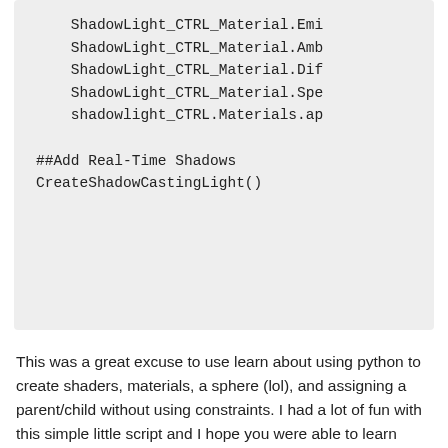[Figure (screenshot): Code block on grey background showing Python/scripting lines: ShadowLight_CTRL_Material.Emi, ShadowLight_CTRL_Material.Amb, ShadowLight_CTRL_Material.Dif, ShadowLight_CTRL_Material.Spe, shadowlight_CTRL.Materials.ap, ##Add Real-Time Shadows, CreateShadowCastingLight()]
This was a great excuse to use learn about using python to create shaders, materials, a sphere (lol), and assigning a parent/child without using constraints. I had a lot of fun with this simple little script and I hope you were able to learn something from it as well. If you know of a better way to script this type of process please feel free to share in the comments below. 🙂